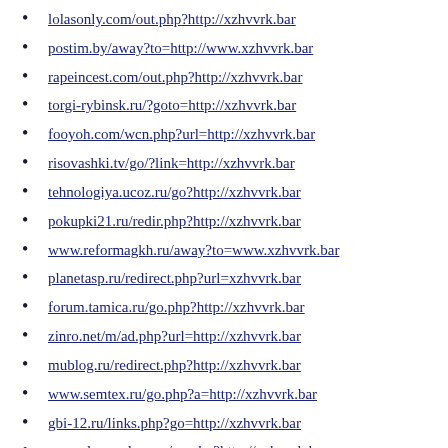lolasonly.com/out.php?http://xzhvvrk.bar
postim.by/away?to=http://www.xzhvvrk.bar
rapeincest.com/out.php?http://xzhvvrk.bar
torgi-rybinsk.ru/?goto=http://xzhvvrk.bar
fooyoh.com/wcn.php?url=http://xzhvvrk.bar
risovashki.tv/go/?link=http://xzhvvrk.bar
tehnologiya.ucoz.ru/go?http://xzhvvrk.bar
pokupki21.ru/redir.php?http://xzhvvrk.bar
www.reformagkh.ru/away?to=www.xzhvvrk.bar
planetasp.ru/redirect.php?url=xzhvvrk.bar
forum.tamica.ru/go.php?http://xzhvvrk.bar
zinro.net/m/ad.php?url=http://xzhvvrk.bar
mublog.ru/redirect.php?http://xzhvvrk.bar
www.semtex.ru/go.php?a=http://xzhvvrk.bar
gbi-12.ru/links.php?go=http://xzhvvrk.bar
www.depmode.com/go.php?http://xzhvvrk.bar
tigelclub.ru/go.php?go=http://xzhvvrk.bar
anekdot.dirx.ru/click.php?url=xzhvvrk.bar
m.rokyu.net/jump.php?u=http://xzhvvrk.bar